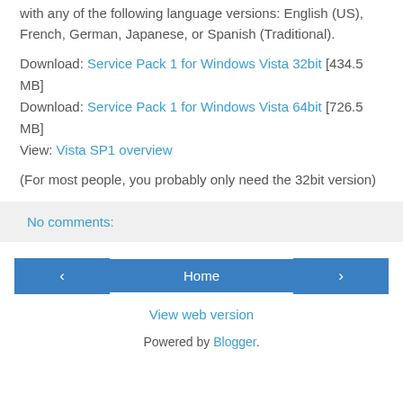with any of the following language versions: English (US), French, German, Japanese, or Spanish (Traditional).
Download: Service Pack 1 for Windows Vista 32bit [434.5 MB]
Download: Service Pack 1 for Windows Vista 64bit [726.5 MB]
View: Vista SP1 overview
(For most people, you probably only need the 32bit version)
No comments:
Home
View web version
Powered by Blogger.